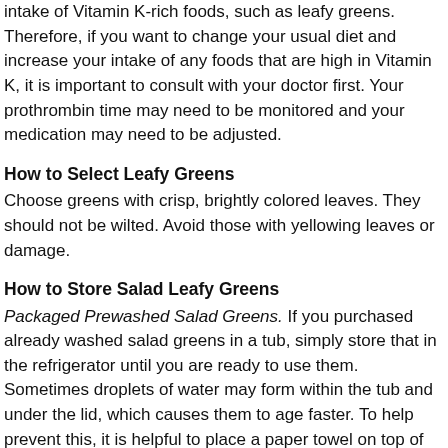intake of Vitamin K-rich foods, such as leafy greens. Therefore, if you want to change your usual diet and increase your intake of any foods that are high in Vitamin K, it is important to consult with your doctor first. Your prothrombin time may need to be monitored and your medication may need to be adjusted.
How to Select Leafy Greens
Choose greens with crisp, brightly colored leaves. They should not be wilted. Avoid those with yellowing leaves or damage.
How to Store Salad Leafy Greens
Packaged Prewashed Salad Greens. If you purchased already washed salad greens in a tub, simply store that in the refrigerator until you are ready to use them. Sometimes droplets of water may form within the tub and under the lid, which causes them to age faster. To help prevent this, it is helpful to place a paper towel on top of the greens in the tub as